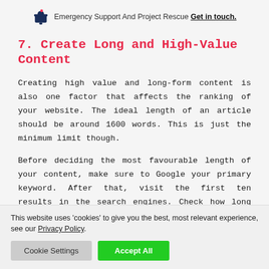Emergency Support And Project Rescue Get in touch.
7. Create Long and High-Value Content
Creating high value and long-form content is also one factor that affects the ranking of your website. The ideal length of an article should be around 1600 words. This is just the minimum limit though.
Before deciding the most favourable length of your content, make sure to Google your primary keyword. After that, visit the first ten results in the search engines. Check how long the article is! Is it longer than
This website uses 'cookies' to give you the best, most relevant experience, see our Privacy Policy.